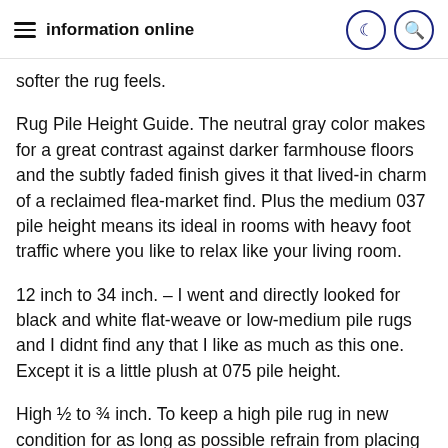information online
softer the rug feels.
Rug Pile Height Guide. The neutral gray color makes for a great contrast against darker farmhouse floors and the subtly faded finish gives it that lived-in charm of a reclaimed flea-market find. Plus the medium 037 pile height means its ideal in rooms with heavy foot traffic where you like to relax like your living room.
12 inch to 34 inch. – I went and directly looked for black and white flat-weave or low-medium pile rugs and I didnt find any that I like as much as this one. Except it is a little plush at 075 pile height.
High ½ to ¾ inch. To keep a high pile rug in new condition for as long as possible refrain from placing it in areas that see high foot traffic. These loops are